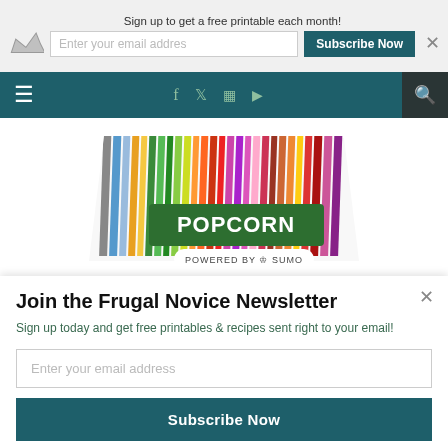Sign up to get a free printable each month!
[Figure (screenshot): Website navigation bar with hamburger menu, social media icons (Facebook, Twitter, Instagram, RSS), and search icon on dark teal background]
[Figure (photo): Colorful striped popcorn box with rainbow vertical stripes and POPCORN text on the front]
Join the Frugal Novice Newsletter
Sign up today and get free printables & recipes sent right to your email!